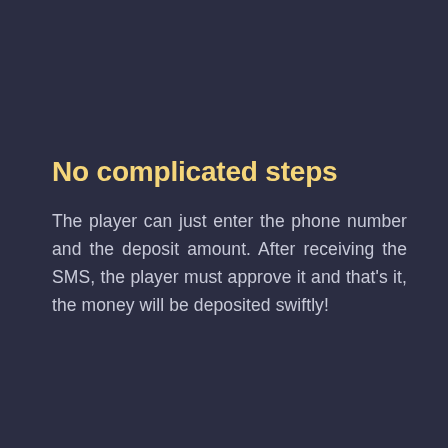No complicated steps
The player can just enter the phone number and the deposit amount. After receiving the SMS, the player must approve it and that's it, the money will be deposited swiftly!